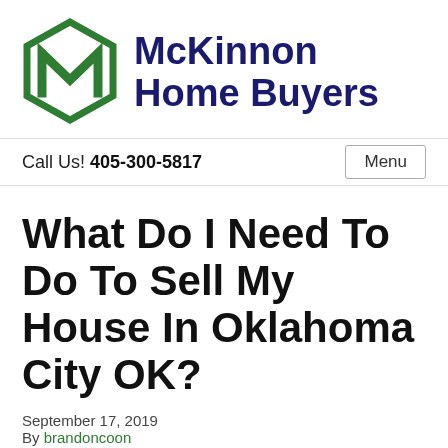[Figure (logo): McKinnon Home Buyers logo — green hexagonal M icon with company name in dark navy blue text]
Call Us! 405-300-5817
Menu
What Do I Need To Do To Sell My House In Oklahoma City OK?
September 17, 2019
By brandoncoon